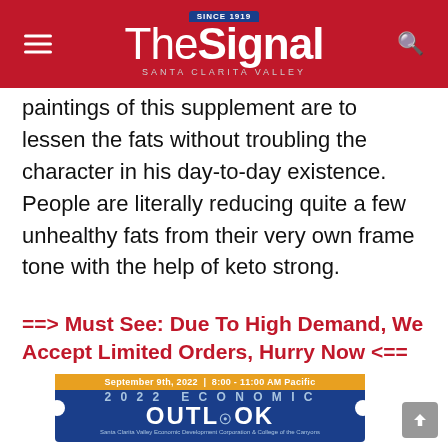The Signal — Santa Clarita Valley
paintings of this supplement are to lessen the fats without troubling the character in his day-to-day existence. People are literally reducing quite a few unhealthy fats from their very own frame tone with the help of keto strong.
==> Must See: Due To High Demand, We Accept Limited Orders, Hurry Now <==
[Figure (other): 2022 Economic Outlook event advertisement banner. September 9th, 2022 | 8:00 - 11:00 AM Pacific. Santa Clarita Valley Economic Development Corporation & College of the Canyons.]